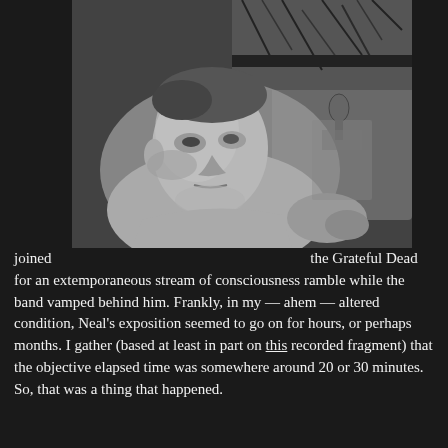[Figure (photo): Black and white photograph of a man (Neal Cassady) looking upward to his right, wearing a light-colored sweatshirt, with wiring and equipment visible in the background.]
joined the Grateful Dead for an extemporaneous stream of consciousness ramble while the band vamped behind him. Frankly, in my — ahem — altered condition, Neal's exposition seemed to go on for hours, or perhaps months. I gather (based at least in part on this recorded fragment) that the objective elapsed time was somewhere around 20 or 30 minutes. So, that was a thing that happened.